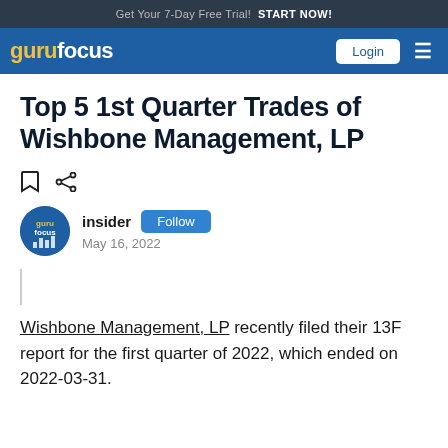Get Your 7-Day Free Trial! Start Now!
gurufocus Login
Top 5 1st Quarter Trades of Wishbone Management, LP
insider  Follow  May 16, 2022
Wishbone Management, LP recently filed their 13F report for the first quarter of 2022, which ended on 2022-03-31.